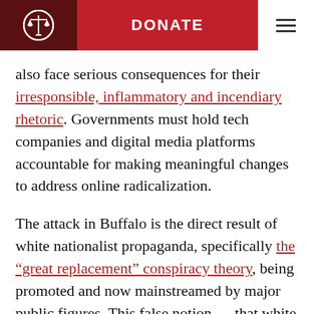DONATE
also face serious consequences for their irresponsible, inflammatory and incendiary rhetoric. Governments must hold tech companies and digital media platforms accountable for making meaningful changes to address online radicalization.
The attack in Buffalo is the direct result of white nationalist propaganda, specifically the “great replacement” conspiracy theory, being promoted and now mainstreamed by major public figures. This false notion — that white people are being systematically replaced by